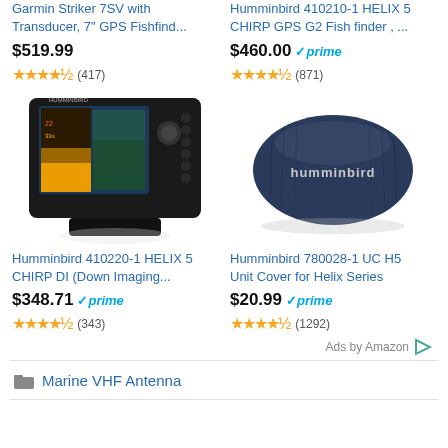Garmin Striker 7SV with Transducer, 7" GPS Fishfind...
$519.99
★★★★½ (417)
Humminbird 410210-1 HELIX 5 CHIRP GPS G2 Fish finder , ...
$460.00 ✓prime
★★★★½ (871)
[Figure (photo): Humminbird HELIX 5 fish finder device with screen showing sonar/map display]
[Figure (photo): Humminbird 780028-1 UC H5 Unit Cover for Helix Series - dark navy blue protective cover]
Humminbird 410220-1 HELIX 5 CHIRP DI (Down Imaging...
$348.71 ✓prime
★★★★½ (343)
Humminbird 780028-1 UC H5 Unit Cover for Helix Series
$20.99 ✓prime
★★★★½ (1292)
Ads by Amazon
Marine VHF Antenna